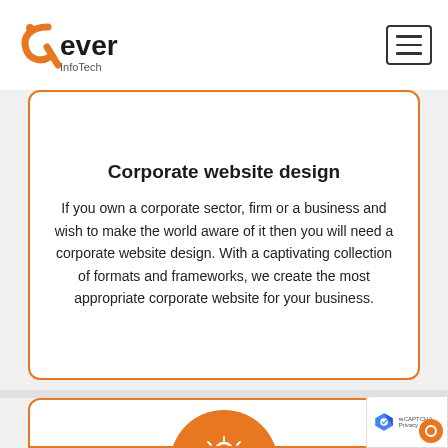[Figure (logo): Rever InfoTech logo with orange stylized R and company name]
Corporate website design
If you own a corporate sector, firm or a business and wish to make the world aware of it then you will need a corporate website design. With a captivating collection of formats and frameworks, we create the most appropriate corporate website for your business.
[Figure (illustration): Orange circle icon with a lightbulb and design tools (pencil, wrench) in white]